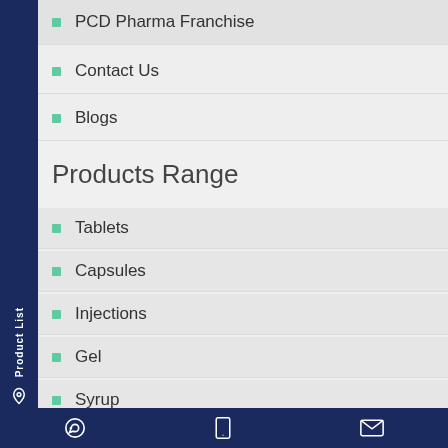PCD Pharma Franchise
Contact Us
Blogs
Products Range
Tablets
Capsules
Injections
Gel
Syrup
WhatsApp | Tablet | Email icons